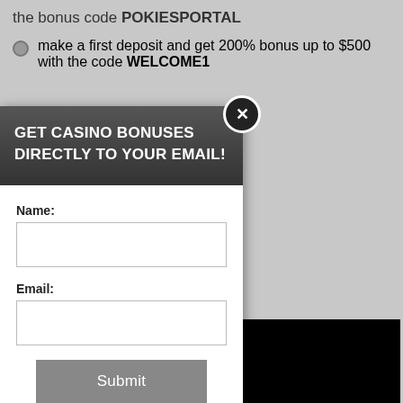the bonus code POKIESPORTAL
make a first deposit and get 200% bonus up to $500 with the code WELCOME1
and get 100% bonus up to Samba Sunset with the
get 100% bonus up to $250 a Sunset with the
new players from Australia
perience, we use Using this site, kie & privacy policy.
GET CASINO BONUSES
DIRECTLY TO YOUR EMAIL!
Name:
Email:
Submit
By subscribing you are certifying that you have reviewed and accepted our updated Privacy and Cookie policy.